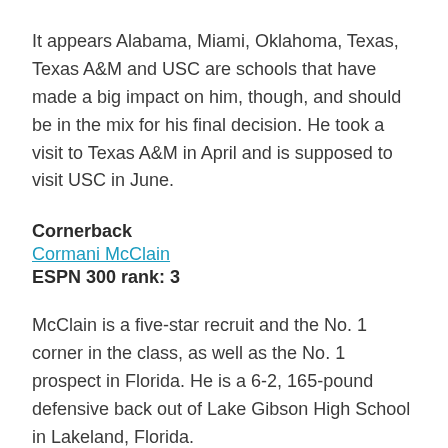It appears Alabama, Miami, Oklahoma, Texas, Texas A&M and USC are schools that have made a big impact on him, though, and should be in the mix for his final decision. He took a visit to Texas A&M in April and is supposed to visit USC in June.
Cornerback
Cormani McClain
ESPN 300 rank: 3
McClain is a five-star recruit and the No. 1 corner in the class, as well as the No. 1 prospect in Florida. He is a 6-2, 165-pound defensive back out of Lake Gibson High School in Lakeland, Florida.
He hasn't released a top list yet, but Alabama and Florida